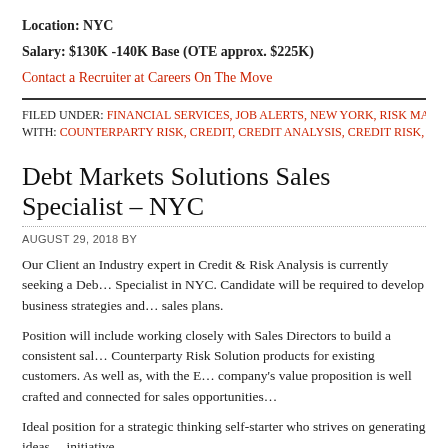Location: NYC
Salary: $130K -140K Base (OTE approx. $225K)
Contact a Recruiter at Careers On The Move
FILED UNDER: FINANCIAL SERVICES, JOB ALERTS, NEW YORK, RISK MANAGEM…
WITH: COUNTERPARTY RISK, CREDIT, CREDIT ANALYSIS, CREDIT RISK, RISK, RI…
Debt Markets Solutions Sales Specialist – NYC
AUGUST 29, 2018 BY
Our Client an Industry expert in Credit & Risk Analysis is currently seeking a Debt Markets Solutions Specialist in NYC. Candidate will be required to develop business strategies and sales plans.
Position will include working closely with Sales Directors to build a consistent sales pipeline of Counterparty Risk Solution products for existing customers. As well as, with the P… company's value proposition is well crafted and connected for sales opportunities…
Ideal position for a strategic thinking self-starter who strives on generating ideas… initiative.